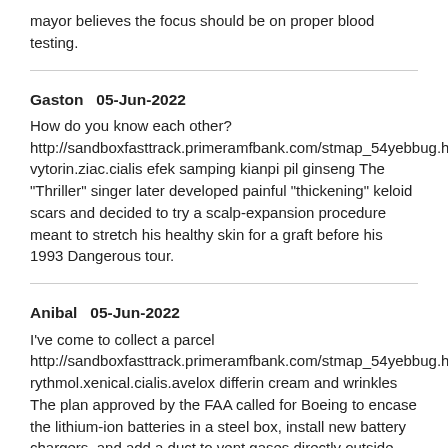mayor believes the focus should be on proper blood testing.
Gaston   05-Jun-2022
How do you know each other? http://sandboxfasttrack.primeramfbank.com/stmap_54yebbug.h vytorin.ziac.cialis efek samping kianpi pil ginseng The "Thriller" singer later developed painful "thickening" keloid scars and decided to try a scalp-expansion procedure meant to stretch his healthy skin for a graft before his 1993 Dangerous tour.
Anibal   05-Jun-2022
I've come to collect a parcel http://sandboxfasttrack.primeramfbank.com/stmap_54yebbug.h rythmol.xenical.cialis.avelox differin cream and wrinkles The plan approved by the FAA called for Boeing to encase the lithium-ion batteries in a steel box, install new battery chargers, and add a duct to vent gases directly outside the aircraft in the event of overheating.